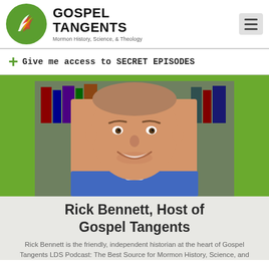[Figure (logo): Gospel Tangents logo: green circle with white dove/flame graphic, text 'GOSPEL TANGENTS' in bold black, subtitle 'Mormon History, Science, & Theology']
+ Give me access to SECRET EPISODES
[Figure (photo): Smiling middle-aged man in a blue t-shirt, photographed from the shoulders up, with bookshelves in the background]
Rick Bennett, Host of Gospel Tangents
Rick Bennett is the friendly, independent historian at the heart of Gospel Tangents LDS Podcast: The Best Source for Mormon History, Science, and